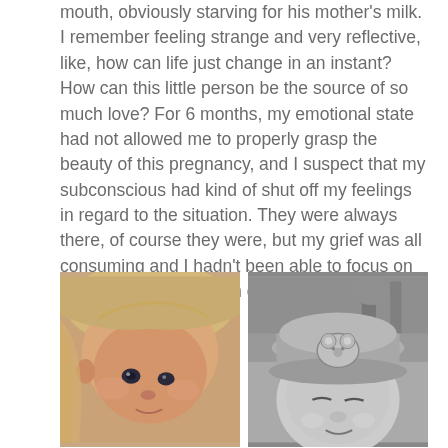mouth, obviously starving for his mother's milk. I remember feeling strange and very reflective, like, how can life just change in an instant? How can this little person be the source of so much love? For 6 months, my emotional state had not allowed me to properly grasp the beauty of this pregnancy, and I suspect that my subconscious had kind of shut off my feelings in regard to the situation. They were always there, of course they were, but my grief was all consuming and I hadn't been able to focus on anything else. But Liam changed that in an instant. Wowsers!!
[Figure (photo): Color close-up photo of a newborn baby with blue eyes, wrapped in a blanket]
[Figure (photo): Black and white photo of a baby wearing a bucket hat with a bear/animal face on it]